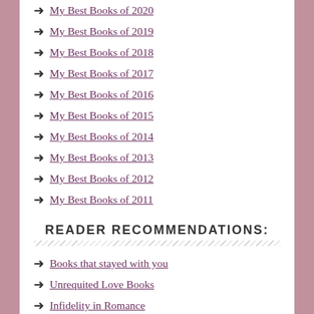My Best Books of 2020
My Best Books of 2019
My Best Books of 2018
My Best Books of 2017
My Best Books of 2016
My Best Books of 2015
My Best Books of 2014
My Best Books of 2013
My Best Books of 2012
My Best Books of 2011
READER RECOMMENDATIONS:
Books that stayed with you
Unrequited Love Books
Infidelity in Romance
What to read after…
Broken Book Boyfriends
Slow Burn Romance
Risqué & Forbidden Love